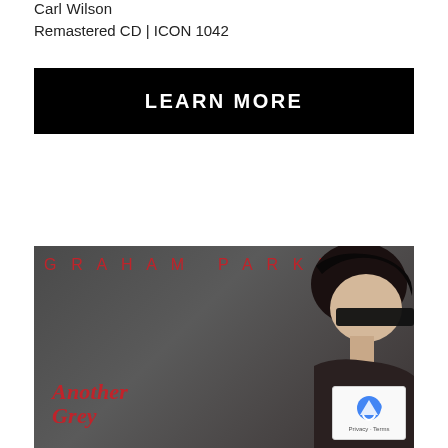Carl Wilson
Remastered CD | ICON 1042
[Figure (other): Black button with white text LEARN MORE]
[Figure (other): Graham Parker album cover - Another Grey area. Dark background with man wearing sunglasses, GRAHAM PARKER text in red spaced letters at top, cursive red script reading Another Grey at bottom left. reCAPTCHA widget overlaid bottom right corner showing Privacy and Terms links.]